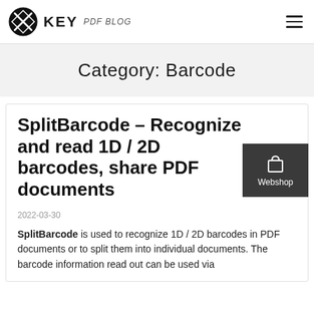KEY PDF BLOG
Category: Barcode
SplitBarcode – Recognize and read 1D / 2D barcodes, share PDF documents
2022-03-30
SplitBarcode is used to recognize 1D / 2D barcodes in PDF documents or to split them into individual documents. The barcode information read out can be used via